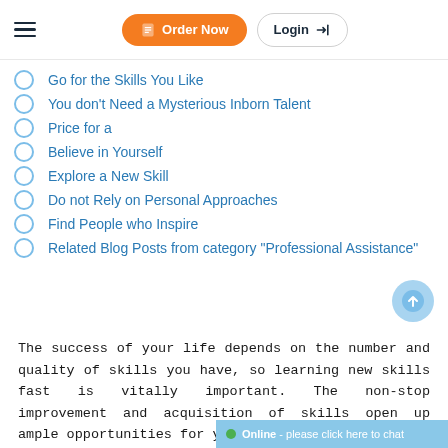Order Now | Login
Go for the Skills You Like
You don't Need a Mysterious Inborn Talent
Price for a
Believe in Yourself
Explore a New Skill
Do not Rely on Personal Approaches
Find People who Inspire
Related Blog Posts from category "Professional Assistance"
The success of your life depends on the number and quality of skills you have, so learning new skills fast is vitally important. The non-stop improvement and acquisition of skills open up ample opportunities for you.
Online - please click here to chat